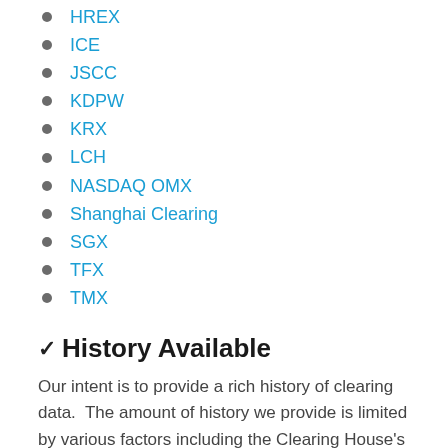HREX
ICE
JSCC
KDPW
KRX
LCH
NASDAQ OMX
Shanghai Clearing
SGX
TFX
TMX
✓ History Available
Our intent is to provide a rich history of clearing data.  The amount of history we provide is limited by various factors including the Clearing House's data practices, our ability to gather the data in a